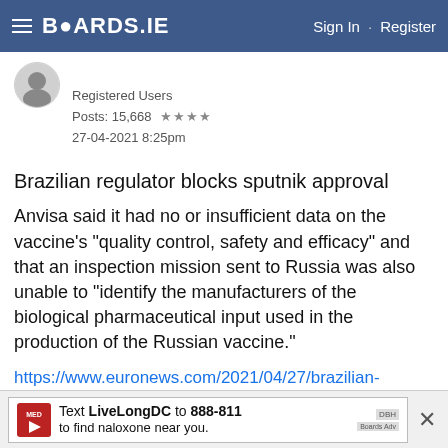BOARDS.IE  Sign In · Register
Registered Users
Posts: 15,668 ★★★★
27-04-2021 8:25pm
Brazilian regulator blocks sputnik approval
Anvisa said it had no or insufficient data on the vaccine's "quality control, safety and efficacy" and that an inspection mission sent to Russia was also unable to "identify the manufacturers of the biological pharmaceutical input used in the production of the Russian vaccine."
https://www.euronews.com/2021/04/27/brazilian-regulator-rejects-use-of-russia-s-sputnik-v-covid-19-
Text LiveLongDC to 888-811 to find naloxone near you.